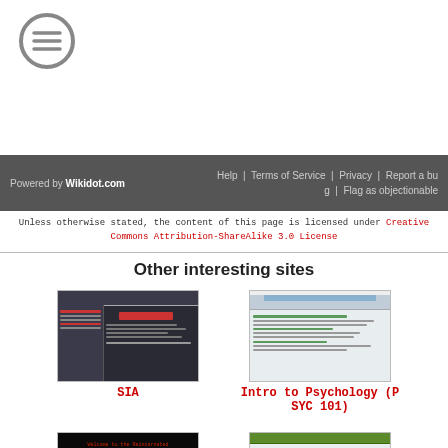[Figure (logo): Circular menu icon (hamburger menu) in gray]
Powered by Wikidot.com | Help | Terms of Service | Privacy | Report a bug | Flag as objectionable
Unless otherwise stated, the content of this page is licensed under Creative Commons Attribution-ShareAlike 3.0 License
Other interesting sites
[Figure (screenshot): Screenshot thumbnail of SIA website]
SIA
[Figure (screenshot): Screenshot thumbnail of Intro to Psychology (PSYC 101) website]
Intro to Psychology (PSYC 101)
[Figure (screenshot): Screenshot thumbnail of dark-themed website]
[Figure (screenshot): Screenshot thumbnail of another website]